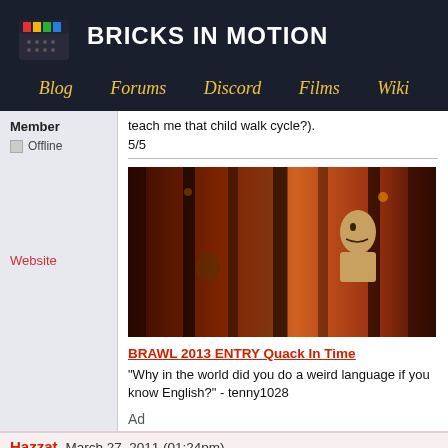BRICKS IN MOTION
Blog | Forums | Discord | Films | Wiki
teach me that child walk cycle?).
5/5
[Figure (screenshot): Video thumbnail showing LEGO figures in a dark warm-toned cinematic scene]
BRAWL 2013 ENTRY Quack In Time
"Why in the world did you do a weird language if you know English?" - tenny1028
Member
Offline
Website
Ad
Hazzat
March 27, 2011 (01:24pm)
With a title like this, I wasn't expecting too much, but I was very pleasantly surprised. The style of